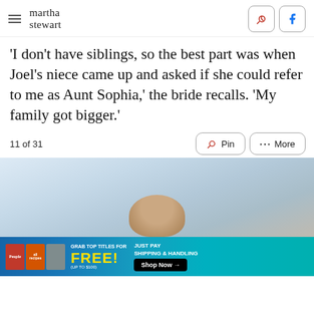martha stewart
'I don't have siblings, so the best part was when Joel's niece came up and asked if she could refer to me as Aunt Sophia,' the bride recalls. 'My family got bigger.'
11 of 31
[Figure (photo): Partially visible photo of a person (bride) with blurred outdoor background with white/light bokeh]
[Figure (infographic): Advertisement banner: People, allrecipes magazines - Grab top titles for FREE! (up to $100) Just pay shipping & handling. Shop Now arrow button.]